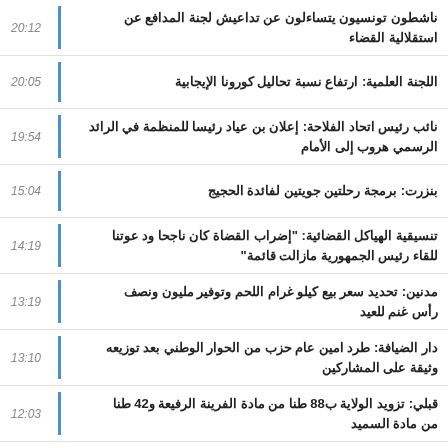20:12 - ناشطون تونسيون يتساءلون عن تداعيش لجنة المدافع عن استقلالية القضاء
20:05 - اللجنة العلمية: ارتفاع نسبة تحاليل كورونا الإيجابية
19:54 - نائب رئيس اتحاد الفلاحة: إعلان بن عياد رئيسا للمنظمة في الرائد الرسمي هروب إلى الأمام
15:04 - بنزرت: برمجة رحلتين جويتين لفائدة الحجيج
14:19 - تنسيقية الهياكل القضائية: "إضراب القضاة كان ناجحا ود عوتنا للقاء رئيس الجمهورية مازالت قائمة"
13:19 - مدنين: تحديد سعر بيع كيلو غرام اللحم وتوفير مليون ونصف رأس غنم للعيد
13:10 - دار الضيافة: طرد امين عام حزب من الحوار الوطني بعد توزيعه وثيقة على المشاركين
12:03 - قبلي: تزويد الولاية ب88 طنا من مادة الفرينة الرفيعة و42 طنا من مادة السميد